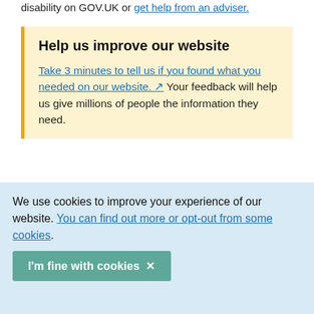disability on GOV.UK or get help from an adviser.
Help us improve our website
Take 3 minutes to tell us if you found what you needed on our website. [external link icon] Your feedback will help us give millions of people the information they need.
Did this advice help?
We use cookies to improve your experience of our website. You can find out more or opt-out from some cookies.
I'm fine with cookies ×